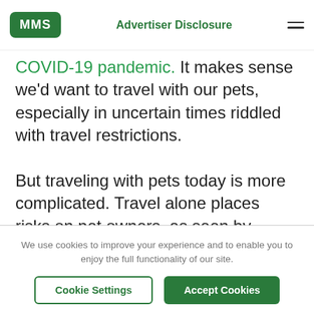MMS | Advertiser Disclosure
COVID-19 pandemic. It makes sense we'd want to travel with our pets, especially in uncertain times riddled with travel restrictions.

But traveling with pets today is more complicated. Travel alone places risks on pet owners, as seen by stories of travelers being separated from pets for months at a time. Reuters reports more than 1,000 pets are currently stranded worldwide by border closures and flight cancellations. In May 2020
We use cookies to improve your experience and to enable you to enjoy the full functionality of our site.
Cookie Settings | Accept Cookies